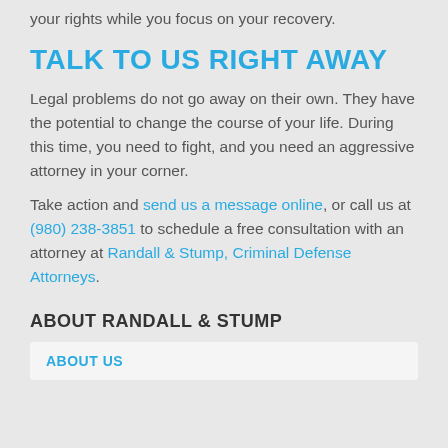your rights while you focus on your recovery.
TALK TO US RIGHT AWAY
Legal problems do not go away on their own. They have the potential to change the course of your life. During this time, you need to fight, and you need an aggressive attorney in your corner.
Take action and send us a message online, or call us at (980) 238-3851 to schedule a free consultation with an attorney at Randall & Stump, Criminal Defense Attorneys.
ABOUT RANDALL & STUMP
ABOUT US